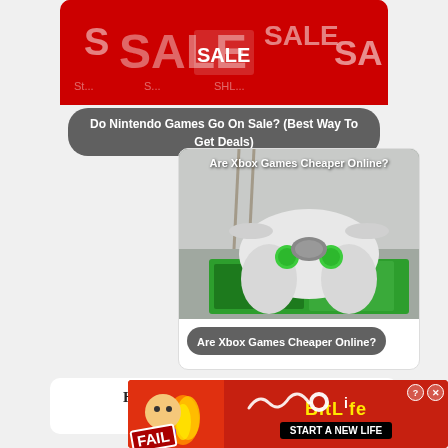[Figure (photo): Red SALE banner image at top of card link]
Do Nintendo Games Go On Sale? (Best Way To Get Deals)
[Figure (photo): Xbox controller sitting on top of green Xbox game cases, with text overlay 'Are Xbox Games Cheaper Online?']
Are Xbox Games Cheaper Online?
How Long Is My Xbox Account Banned For?
[Figure (illustration): BitLife advertisement banner with FAIL text, cartoon character, flames, and 'START A NEW LIFE' button]